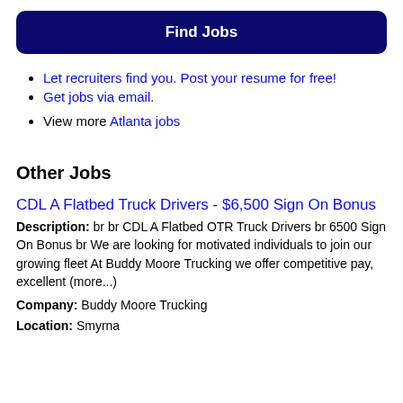Find Jobs
Let recruiters find you. Post your resume for free!
Get jobs via email.
View more Atlanta jobs
Other Jobs
CDL A Flatbed Truck Drivers - $6,500 Sign On Bonus
Description: br br CDL A Flatbed OTR Truck Drivers br 6500 Sign On Bonus br We are looking for motivated individuals to join our growing fleet At Buddy Moore Trucking we offer competitive pay, excellent (more...)
Company: Buddy Moore Trucking
Location: Smyrna